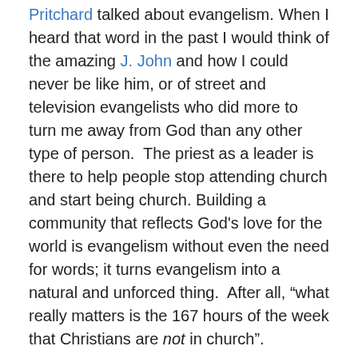Pritchard talked about evangelism. When I heard that word in the past I would think of the amazing J. John and how I could never be like him, or of street and television evangelists who did more to turn me away from God than any other type of person.  The priest as a leader is there to help people stop attending church and start being church. Building a community that reflects God's love for the world is evangelism without even the need for words; it turns evangelism into a natural and unforced thing.  After all, “what really matters is the 167 hours of the week that Christians are not in church”.
Following the leader
One of the biggest challenges, to me at least, that came across in the book is one that I have observed.  It is the challenge of doing what God wants and bringing along a